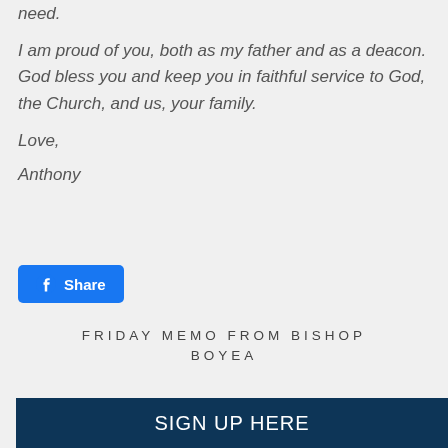need.
I am proud of you, both as my father and as a deacon. God bless you and keep you in faithful service to God, the Church, and us, your family.
Love,
Anthony
[Figure (other): Facebook Share button with blue background]
FRIDAY MEMO FROM BISHOP BOYEA
SIGN UP HERE